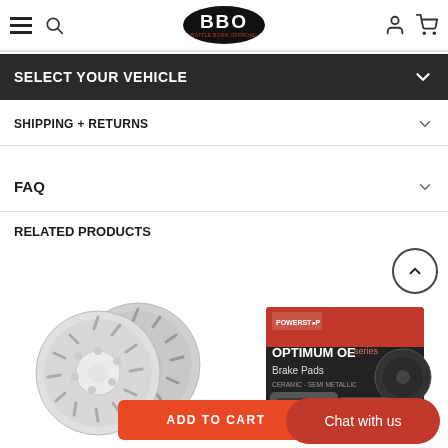Battle Born Offroad - BBO
SELECT YOUR VEHICLE
SHIPPING + RETURNS
FAQ
RELATED PRODUCTS
[Figure (photo): Two slotted brake rotors shown side by side]
[Figure (photo): Brake pads product box - Optimum OE series, red and black box with brake pads in front]
ADD TO CART
Chat with us